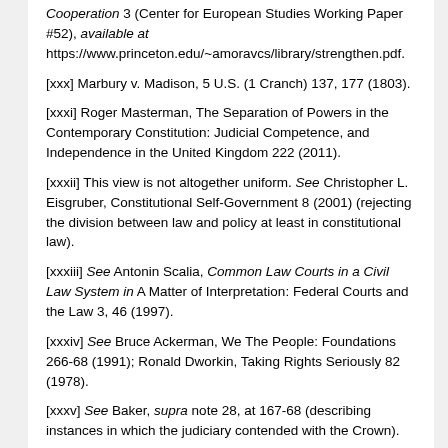Cooperation 3 (Center for European Studies Working Paper #52), available at https://www.princeton.edu/~amoravcs/library/strengthen.pdf.
[xxx] Marbury v. Madison, 5 U.S. (1 Cranch) 137, 177 (1803).
[xxxi] Roger Masterman, The Separation of Powers in the Contemporary Constitution: Judicial Competence, and Independence in the United Kingdom 222 (2011).
[xxxii] This view is not altogether uniform. See Christopher L. Eisgruber, Constitutional Self-Government 8 (2001) (rejecting the division between law and policy at least in constitutional law).
[xxxiii] See Antonin Scalia, Common Law Courts in a Civil Law System in A Matter of Interpretation: Federal Courts and the Law 3, 46 (1997).
[xxxiv] See Bruce Ackerman, We The People: Foundations 266-68 (1991); Ronald Dworkin, Taking Rights Seriously 82 (1978).
[xxxv] See Baker, supra note 28, at 167-68 (describing instances in which the judiciary contended with the Crown).